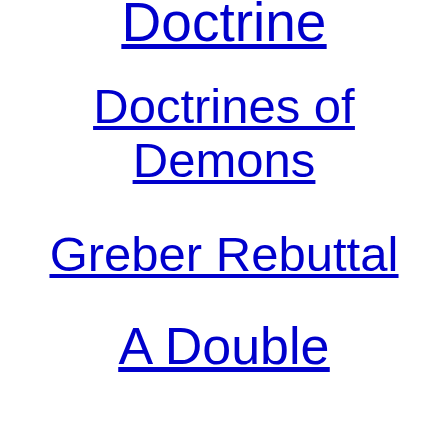Doctrine
Doctrines of Demons
Greber Rebuttal
A Double